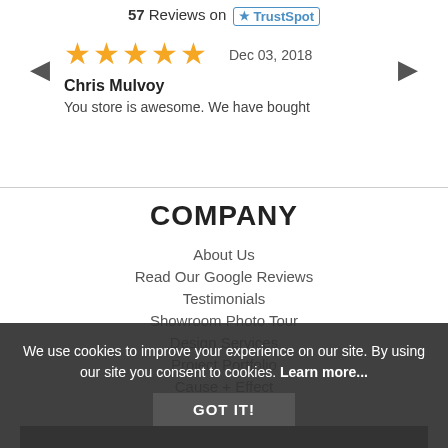57 Reviews on TrustSpot
[Figure (other): Five orange star rating icons]
Dec 03, 2018
Chris Mulvoy
You store is awesome. We have bought
COMPANY
About Us
Read Our Google Reviews
Testimonials
Showroom Photo Tour
Design Services
Project Portfolio
Cause + Effect
Sustainability
Events
Blog
We use cookies to improve your experience on our site. By using our site you consent to cookies. Learn more...
GOT IT!